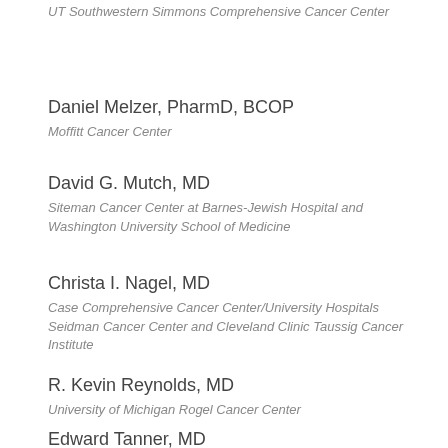UT Southwestern Simmons Comprehensive Cancer Center
Daniel Melzer, PharmD, BCOP
Moffitt Cancer Center
David G. Mutch, MD
Siteman Cancer Center at Barnes-Jewish Hospital and Washington University School of Medicine
Christa I. Nagel, MD
Case Comprehensive Cancer Center/University Hospitals Seidman Cancer Center and Cleveland Clinic Taussig Cancer Institute
R. Kevin Reynolds, MD
University of Michigan Rogel Cancer Center
Edward Tanner, MD